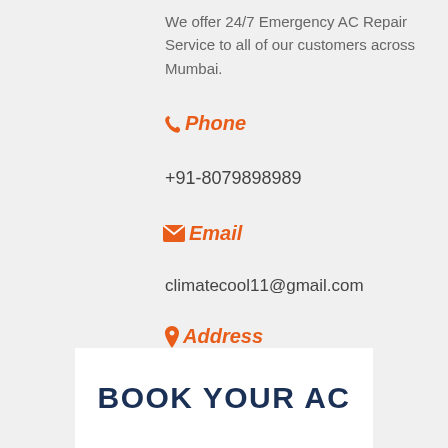We offer 24/7 Emergency AC Repair Service to all of our customers across Mumbai.
Phone
+91-8079898989
Email
climatecool11@gmail.com
Address
Shop No. 18, Mahavir Krupa Building, Mahavir Nagar Kandivali West Mumbai -400067
BOOK YOUR AC